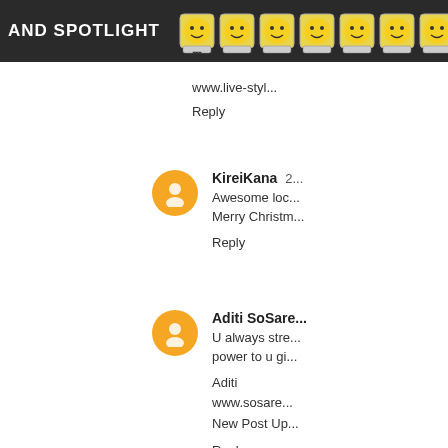AND SPOTLIGHT
www.live-styl...
Reply
KireiKana 2...
Awesome loc... Merry Christm...
Reply
Aditi SoSare...
U always stre... power to u gi...
Aditi
www.sosare...
New Post Up...
Reply